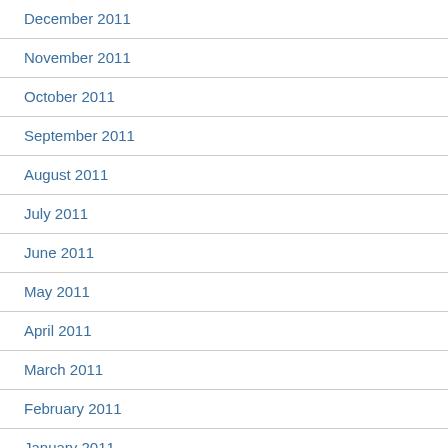December 2011
November 2011
October 2011
September 2011
August 2011
July 2011
June 2011
May 2011
April 2011
March 2011
February 2011
January 2011
December 2010
November 2010
October 2010